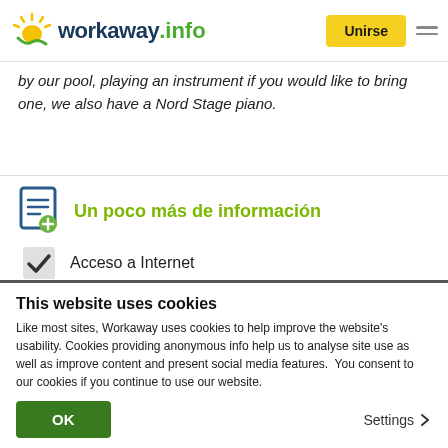workaway.info — Unirse
by our pool, playing an instrument if you would like to bring one, we also have a Nord Stage piano.
Un poco más de información
Acceso a Internet
Acceso a Internet limitado
Tenemos animales
This website uses cookies
Like most sites, Workaway uses cookies to help improve the website's usability. Cookies providing anonymous info help us to analyse site use as well as improve content and present social media features.  You consent to our cookies if you continue to use our website.